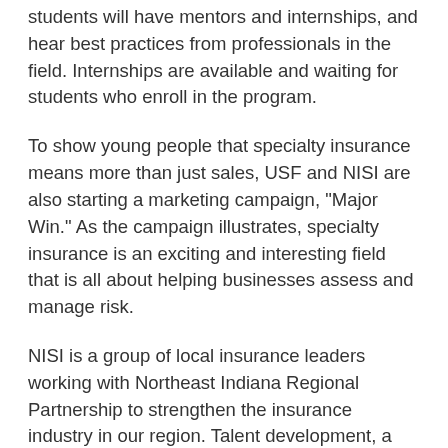students will have mentors and internships, and hear best practices from professionals in the field. Internships are available and waiting for students who enroll in the program.
To show young people that specialty insurance means more than just sales, USF and NISI are also starting a marketing campaign, "Major Win." As the campaign illustrates, specialty insurance is an exciting and interesting field that is all about helping businesses assess and manage risk.
NISI is a group of local insurance leaders working with Northeast Indiana Regional Partnership to strengthen the insurance industry in our region. Talent development, a goal of NISI, is what led them to work closely with the University of Saint Francis.
For more details on USF's new RMI degree program, as well as an informative video, please visit the program's website: go.sf.edu/usf-rmi